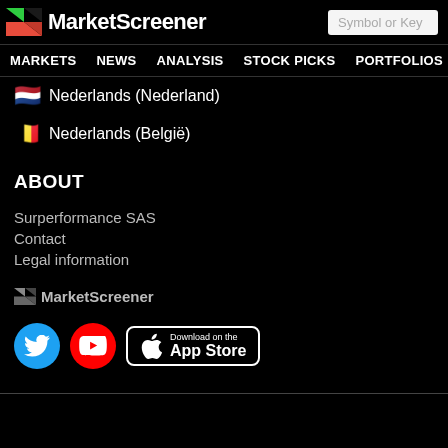MarketScreener — Symbol or Key...
MARKETS NEWS ANALYSIS STOCK PICKS PORTFOLIOS WATCHLI...
🇳🇱 Nederlands (Nederland)
🇧🇪 Nederlands (België)
ABOUT
Surperformance SAS
Contact
Legal information
[Figure (logo): MarketScreener small logo (grey)]
[Figure (logo): Social media buttons: Twitter, YouTube, and App Store download button]